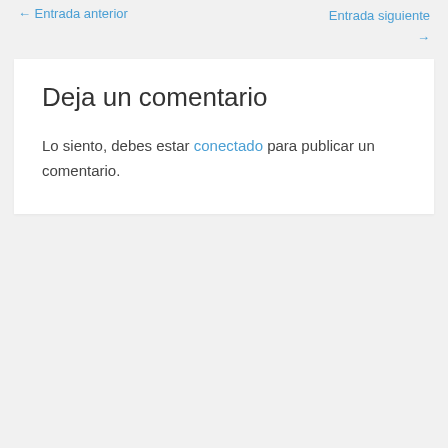← Entrada anterior    Entrada siguiente →
Deja un comentario
Lo siento, debes estar conectado para publicar un comentario.